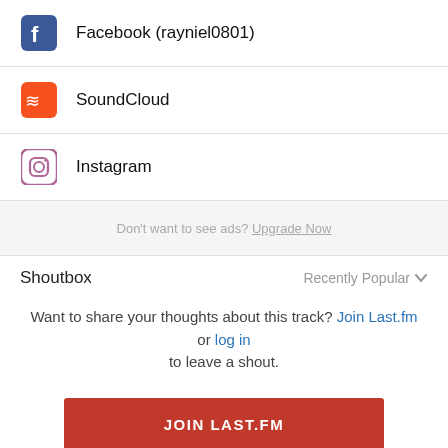Facebook (rayniel0801)
SoundCloud
Instagram
Don't want to see ads? Upgrade Now
Shoutbox
Recently Popular
Want to share your thoughts about this track? Join Last.fm or log in to leave a shout.
JOIN LAST.FM
guisgeov